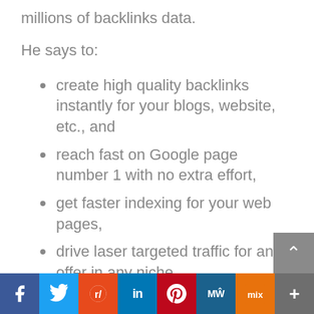millions of backlinks data.
He says to:
create high quality backlinks instantly for your blogs, website, etc., and
reach fast on Google page number 1 with no extra effort,
get faster indexing for your web pages,
drive laser targeted traffic for any offer in any niche,
f  Twitter  Reddit  in  Pinterest  MW  Mix  +